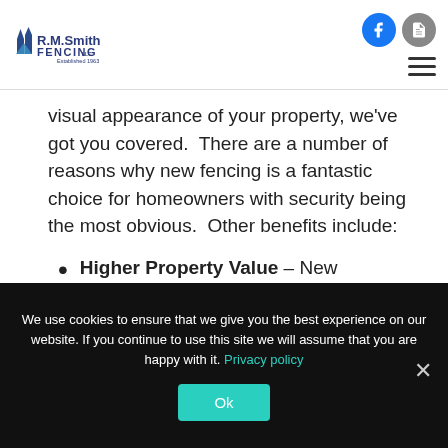R.M.Smith Fencing LLC Established 1963
visual appearance of your property, we've got you covered.  There are a number of reasons why new fencing is a fantastic choice for homeowners with security being the most obvious.  Other benefits include:
Higher Property Value – New
We use cookies to ensure that we give you the best experience on our website. If you continue to use this site we will assume that you are happy with it. Privacy policy